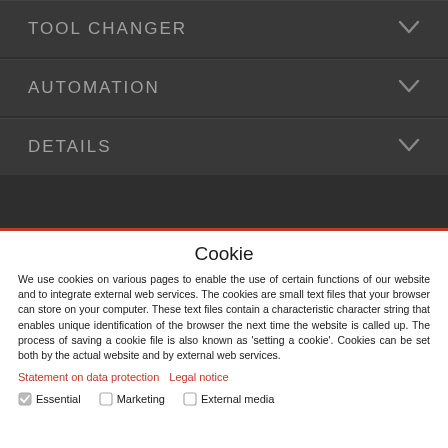TOOL CHANGER
AUTOMATION
DETAILS
Cookie
We use cookies on various pages to enable the use of certain functions of our website and to integrate external web services. The cookies are small text files that your browser can store on your computer. These text files contain a characteristic character string that enables unique identification of the browser the next time the website is called up. The process of saving a cookie file is also known as 'setting a cookie'. Cookies can be set both by the actual website and by external web services.
Statement on data protection   Legal notice
Essential   Marketing   External media